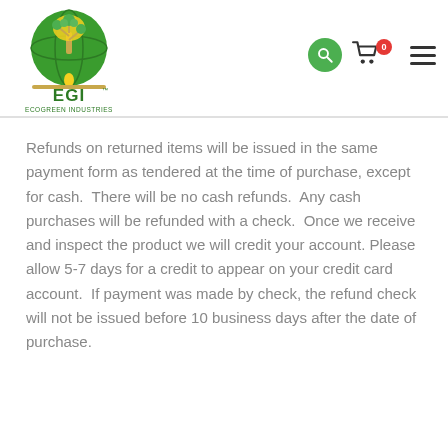[Figure (logo): EcoGreen Industries (EGI) logo with green globe and tree, gold text EGI, tagline EcoGreen Industries]
Refunds on returned items will be issued in the same payment form as tendered at the time of purchase, except for cash.  There will be no cash refunds.  Any cash purchases will be refunded with a check.  Once we receive and inspect the product we will credit your account. Please allow 5-7 days for a credit to appear on your credit card account.  If payment was made by check, the refund check will not be issued before 10 business days after the date of purchase.